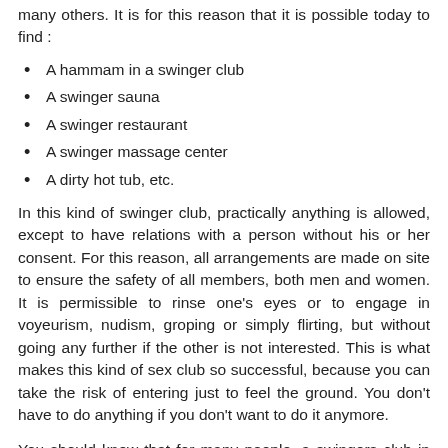many others. It is for this reason that it is possible today to find :
A hammam in a swinger club
A swinger sauna
A swinger restaurant
A swinger massage center
A dirty hot tub, etc.
In this kind of swinger club, practically anything is allowed, except to have relations with a person without his or her consent. For this reason, all arrangements are made on site to ensure the safety of all members, both men and women. It is permissible to rinse one's eyes or to engage in voyeurism, nudism, groping or simply flirting, but without going any further if the other is not interested. This is what makes this kind of sex club so successful, because you can take the risk of entering just to feel the ground. You don't have to do anything if you don't want to do it anymore.
You should know that for many people, a swingers club in Farmington, UT is nothing more than a place of debauchery. Most